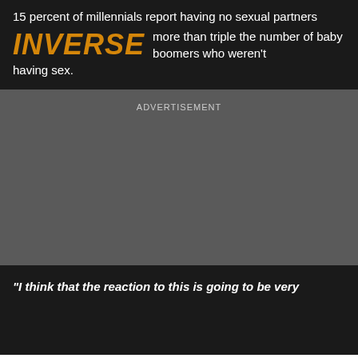15 percent of millennials report having no sexual partners
INVERSE
more than triple the number of baby boomers who weren't having sex.
ADVERTISEMENT
"I think that the reaction to this is going to be very